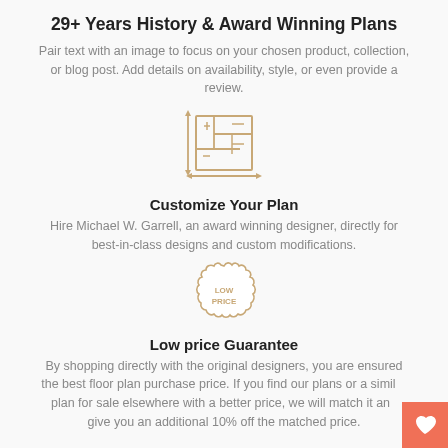29+ Years History & Award Winning Plans
Pair text with an image to focus on your chosen product, collection, or blog post. Add details on availability, style, or even provide a review.
[Figure (illustration): Floor plan icon — a square blueprint outline with interior room lines and arrows indicating dimensions, rendered in tan/gold color]
Customize Your Plan
Hire Michael W. Garrell, an award winning designer, directly for best-in-class designs and custom modifications.
[Figure (illustration): Low price guarantee badge — a scalloped circular stamp with 'LOW PRICE' text inside, rendered in tan/gold outline]
Low price Guarantee
By shopping directly with the original designers, you are ensured the best floor plan purchase price. If you find our plans or a similar plan for sale elsewhere with a better price, we will match it and give you an additional 10% off the matched price.